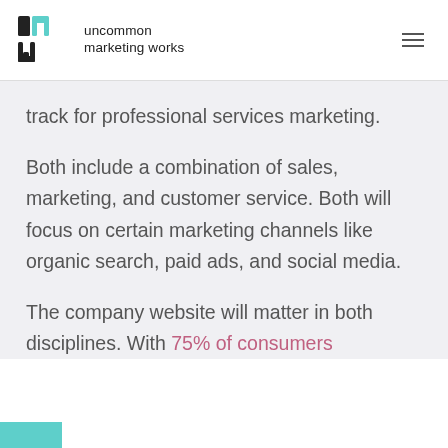uncommon marketing works
track for professional services marketing.
Both include a combination of sales, marketing, and customer service. Both will focus on certain marketing channels like organic search, paid ads, and social media.
The company website will matter in both disciplines. With 75% of consumers